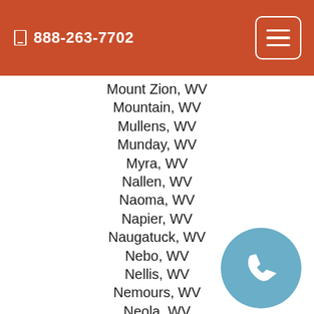888-263-7702
Mount Zion, WV
Mountain, WV
Mullens, WV
Munday, WV
Myra, WV
Nallen, WV
Naoma, WV
Napier, WV
Naugatuck, WV
Nebo, WV
Nellis, WV
Nemours, WV
Neola, WV
Nettie, WV
New Creek, WV
New Cumberland, WV
New Haven, WV
New Manchester, WV
[Figure (illustration): Blue circle with white phone handset icon, floating in lower right area]